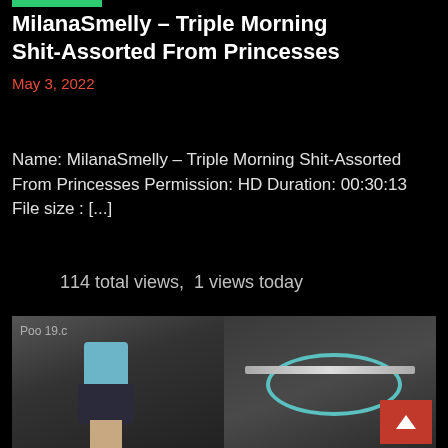MilanaSmelly – Triple Morning Shit-Assorted From Princesses
May 3, 2022
Name: MilanaSmelly – Triple Morning Shit-Assorted From Princesses Permission: HD Duration: 00:30:13 File size : [...]
114 total views,  1 views today
[Figure (photo): Two-panel screenshot showing a woman in a blue top on the left panel and a glass/bar object on the right panel. Watermark text visible top-left. Red scroll-to-top button bottom-right.]